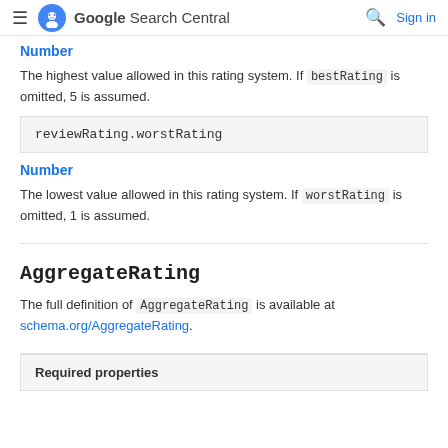Google Search Central — Sign in
Number
The highest value allowed in this rating system. If bestRating is omitted, 5 is assumed.
reviewRating.worstRating
Number
The lowest value allowed in this rating system. If worstRating is omitted, 1 is assumed.
AggregateRating
The full definition of AggregateRating is available at schema.org/AggregateRating.
| Required properties |
| --- |